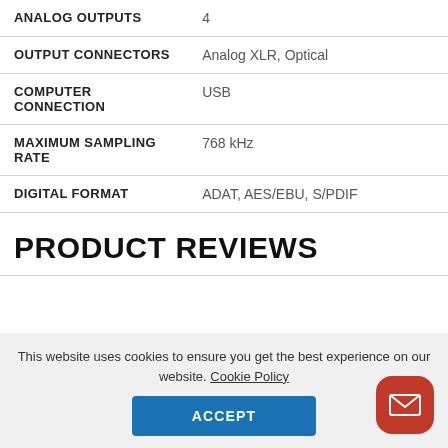| ANALOG OUTPUTS | 4 |
| OUTPUT CONNECTORS | Analog XLR, Optical |
| COMPUTER CONNECTION | USB |
| MAXIMUM SAMPLING RATE | 768 kHz |
| DIGITAL FORMAT | ADAT, AES/EBU, S/PDIF |
PRODUCT REVIEWS
This website uses cookies to ensure you get the best experience on our website. Cookie Policy
ACCEPT